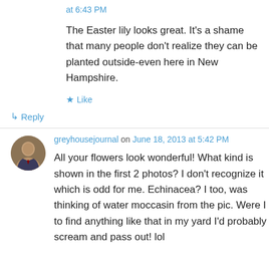at 6:43 PM
The Easter lily looks great. It's a shame that many people don't realize they can be planted outside-even here in New Hampshire.
★ Like
↳ Reply
greyhousejournal on June 18, 2013 at 5:42 PM
All your flowers look wonderful! What kind is shown in the first 2 photos? I don't recognize it which is odd for me. Echinacea? I too, was thinking of water moccasin from the pic. Were I to find anything like that in my yard I'd probably scream and pass out! lol